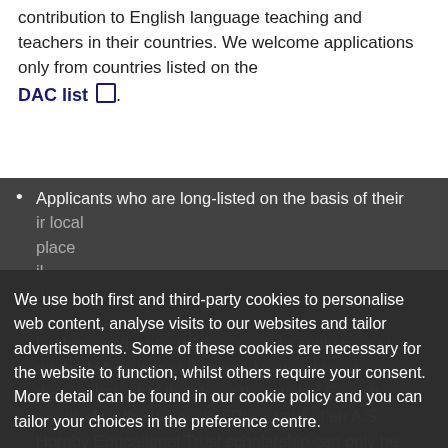contribution to English language teaching and teachers in their countries. We welcome applications only from countries listed on the DAC list.
Applicants who are long-listed on the basis of their local place will then need to apply for a scholarship, applicants will then need to apply for a place on the MA course at Warwick University and demonstrate that they have the level of English required by the university. The award of an A S Hornby Educational Trust scholarship can only be confirmed once the applicant has been accepted on the course by the university.
We use both first and third-party cookies to personalise web content, analyse visits to our websites and tailor advertisements. Some of these cookies are necessary for the website to function, whilst others require your consent. More detail can be found in our cookie policy and you can tailor your choices in the preference centre.
Accept All Cookies
Cookies Settings